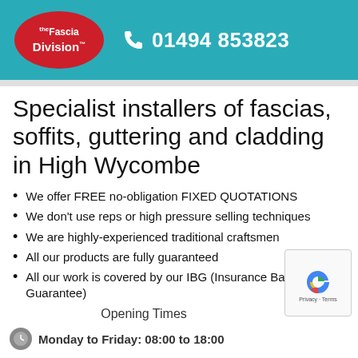The Fascia Division™ — 01494 853823
Specialist installers of fascias, soffits, guttering and cladding in High Wycombe
We offer FREE no-obligation FIXED QUOTATIONS
We don't use reps or high pressure selling techniques
We are highly-experienced traditional craftsmen
All our products are fully guaranteed
All our work is covered by our IBG (Insurance Backed Guarantee)
Opening Times
Monday to Friday: 08:00 to 18:00